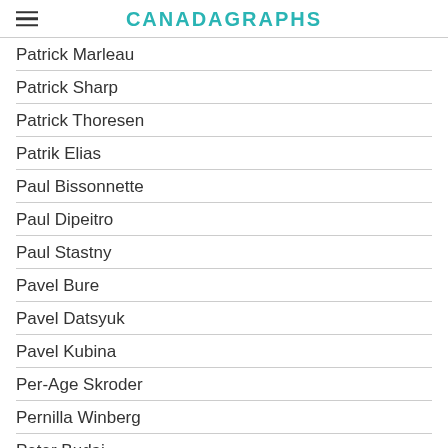CANADAGRAPHS
Patrick Marleau
Patrick Sharp
Patrick Thoresen
Patrik Elias
Paul Bissonnette
Paul Dipeitro
Paul Stastny
Pavel Bure
Pavel Datsyuk
Pavel Kubina
Per-Age Skroder
Pernilla Winberg
Peter Budaj
Peter Forsberg